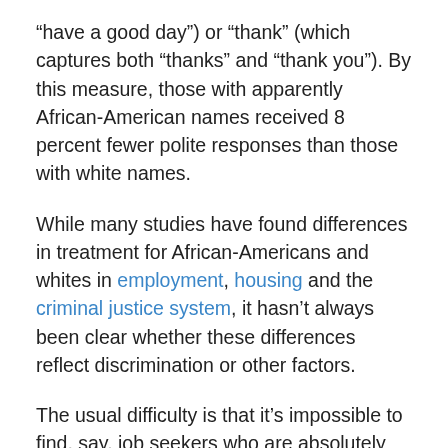“have a good day”) or “thank” (which captures both “thanks” and “thank you”). By this measure, those with apparently African-American names received 8 percent fewer polite responses than those with white names.
While many studies have found differences in treatment for African-Americans and whites in employment, housing and the criminal justice system, it hasn’t always been clear whether these differences reflect discrimination or other factors.
The usual difficulty is that it’s impossible to find, say, job seekers who are absolutely identical in every respect except race. As a result, it is difficult to conclude whether a white job seeker succeeded — and a black one didn’t — because of discrimination. While statistical techniques can adjust for some of these factors — education, geography